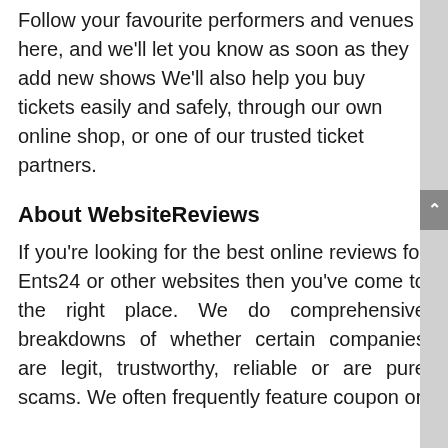Follow your favourite performers and venues here, and we'll let you know as soon as they add new shows We'll also help you buy tickets easily and safely, through our own online shop, or one of our trusted ticket partners.
About WebsiteReviews
If you're looking for the best online reviews for Ents24 or other websites then you've come to the right place. We do comprehensive breakdowns of whether certain companies are legit, trustworthy, reliable or are pure scams. We often frequently feature coupon or